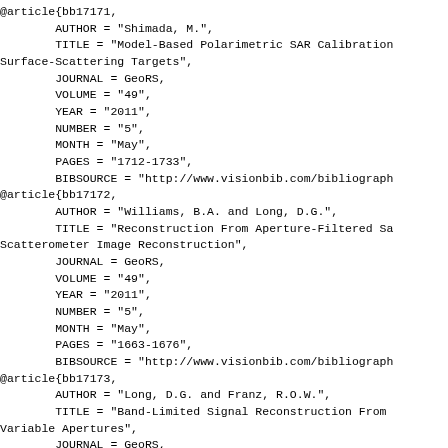@article{bb17171,
        AUTHOR = "Shimada, M.",
        TITLE = "Model-Based Polarimetric SAR Calibration Surface-Scattering Targets",
        JOURNAL = GeoRS,
        VOLUME = "49",
        YEAR = "2011",
        NUMBER = "5",
        MONTH = "May",
        PAGES = "1712-1733",
        BIBSOURCE = "http://www.visionbib.com/bibliograph
@article{bb17172,
        AUTHOR = "Williams, B.A. and Long, D.G.",
        TITLE = "Reconstruction From Aperture-Filtered Sa Scatterometer Image Reconstruction",
        JOURNAL = GeoRS,
        VOLUME = "49",
        YEAR = "2011",
        NUMBER = "5",
        MONTH = "May",
        PAGES = "1663-1676",
        BIBSOURCE = "http://www.visionbib.com/bibliograph
@article{bb17173,
        AUTHOR = "Long, D.G. and Franz, R.O.W.",
        TITLE = "Band-Limited Signal Reconstruction From Variable Apertures",
        JOURNAL = GeoRS,
        VOLUME = "54",
        YEAR = "2016",